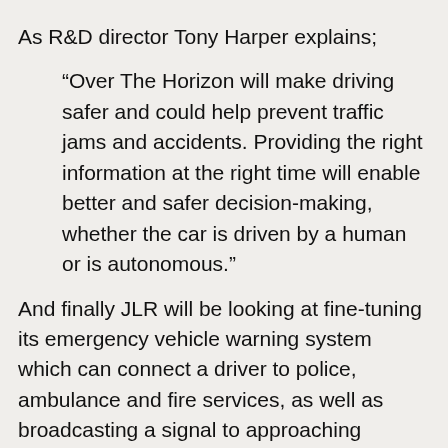As R&D director Tony Harper explains;
“Over The Horizon will make driving safer and could help prevent traffic jams and accidents. Providing the right information at the right time will enable better and safer decision-making, whether the car is driven by a human or is autonomous.”
And finally JLR will be looking at fine-tuning its emergency vehicle warning system which can connect a driver to police, ambulance and fire services, as well as broadcasting a signal to approaching vehicles. Take a look at the videos below for more insight.